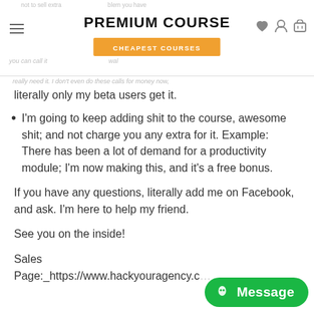PREMIUM COURSE / CHEAPEST COURSES
literally only my beta users get it.
I'm going to keep adding shit to the course, awesome shit; and not charge you any extra for it. Example: There has been a lot of demand for a productivity module; I'm now making this, and it's a free bonus.
If you have any questions, literally add me on Facebook, and ask. I'm here to help my friend.
See you on the inside!
Sales
Page:_https://www.hackyouragency.c…